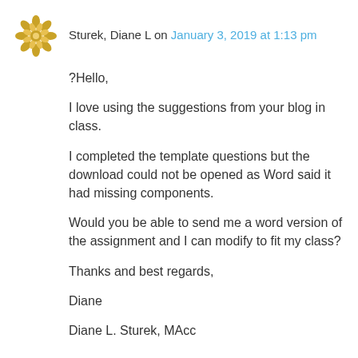[Figure (logo): Decorative golden geometric/floral avatar icon]
Sturek, Diane L on January 3, 2019 at 1:13 pm
?Hello,

I love using the suggestions from your blog in class.

I completed the template questions but the download could not be opened as Word said it had missing components.

Would you be able to send me a word version of the assignment and I can modify to fit my class?

Thanks and best regards,

Diane

Diane L. Sturek, MAcc